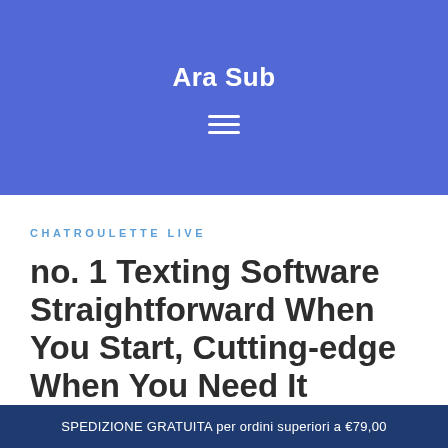Ara Sub
CHATROULETTE LIVE
no. 1 Texting Software Straightforward When You Start, Cutting-edge When You Need It
SPEDIZIONE GRATUITA per ordini superiori a €79,00